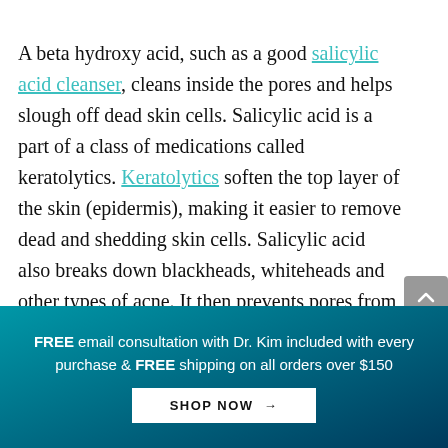A beta hydroxy acid, such as a good salicylic acid cleanser, cleans inside the pores and helps slough off dead skin cells. Salicylic acid is a part of a class of medications called keratolytics. Keratolytics soften the top layer of the skin (epidermis), making it easier to remove dead and shedding skin cells. Salicylic acid also breaks down blackheads, whiteheads and other types of acne. It then prevents pores from clogging up again by constricting pore diameter and creating room for new skin cell growth. Due to its desirable effect on skin cells, several shampoos contain salicylic acid to treat dandruff...
FREE email consultation with Dr. Kim included with every purchase & FREE shipping on all orders over $150  SHOP NOW →